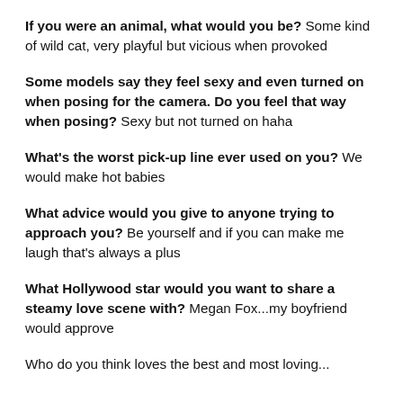If you were an animal, what would you be? Some kind of wild cat, very playful but vicious when provoked
Some models say they feel sexy and even turned on when posing for the camera. Do you feel that way when posing? Sexy but not turned on haha
What's the worst pick-up line ever used on you? We would make hot babies
What advice would you give to anyone trying to approach you? Be yourself and if you can make me laugh that's always a plus
What Hollywood star would you want to share a steamy love scene with? Megan Fox...my boyfriend would approve
Who do you think loves the best and most loving...